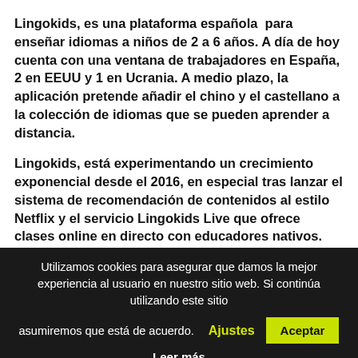Lingokids, es una plataforma española para enseñar idiomas a niños de 2 a 6 años. A día de hoy cuenta con una ventana de trabajadores en España, 2 en EEUU y 1 en Ucrania. A medio plazo, la aplicación pretende añadir el chino y el castellano a la colección de idiomas que se pueden aprender a distancia.
Lingokids, está experimentando un crecimiento exponencial desde el 2016, en especial tras lanzar el sistema de recomendación de contenidos al estilo Netflix y el servicio Lingokids Live que ofrece clases online en directo con educadores nativos. Además, Lingokids ha anunciado un acuerdo con Oxford, por el cual los usuarios tienen acceso a todos los contenidos de la editorial desde la 'app'.
Utilizamos cookies para asegurar que damos la mejor experiencia al usuario en nuestro sitio web. Si continúa utilizando este sitio asumiremos que está de acuerdo. Ajustes Aceptar Leer más